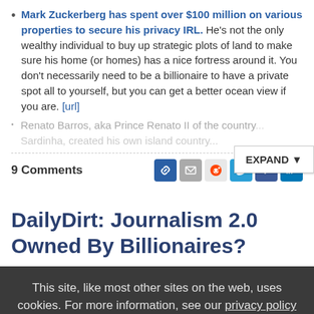Mark Zuckerberg has spent over $100 million on various properties to secure his privacy IRL. He's not the only wealthy individual to buy up strategic plots of land to make sure his home (or homes) has a nice fortress around it. You don't necessarily need to be a billionaire to have a private spot all to yourself, but you can get a better ocean view if you are. [url]
Renato Barros, aka Prince Renato II of the country... Sardinha, created his own island country...
9 Comments
DailyDirt: Journalism 2.0 Owned By Billionaires?
This site, like most other sites on the web, uses cookies. For more information, see our privacy policy